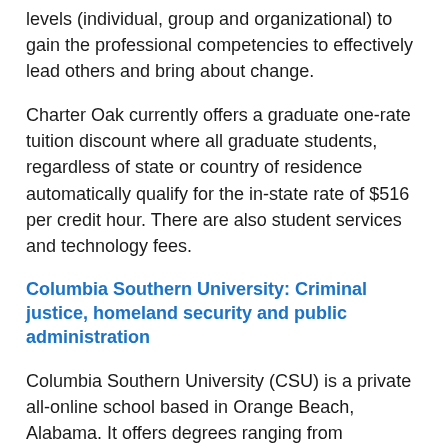levels (individual, group and organizational) to gain the professional competencies to effectively lead others and bring about change.
Charter Oak currently offers a graduate one-rate tuition discount where all graduate students, regardless of state or country of residence automatically qualify for the in-state rate of $516 per credit hour. There are also student services and technology fees.
Columbia Southern University: Criminal justice, homeland security and public administration
Columbia Southern University (CSU) is a private all-online school based in Orange Beach, Alabama. It offers degrees ranging from associate to doctoral programs. Of interest to law enforcement officers are its programs in criminal justice, homeland security, and public administration.